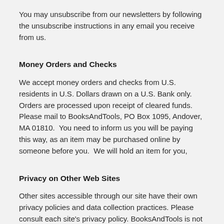You may unsubscribe from our newsletters by following the unsubscribe instructions in any email you receive from us.
Money Orders and Checks
We accept money orders and checks from U.S. residents in U.S. Dollars drawn on a U.S. Bank only. Orders are processed upon receipt of cleared funds. Please mail to BooksAndTools, PO Box 1095, Andover, MA 01810.  You need to inform us you will be paying this way, as an item may be purchased online by someone before you.  We will hold an item for you,
Privacy on Other Web Sites
Other sites accessible through our site have their own privacy policies and data collection practices. Please consult each site's privacy policy. BooksAndTools is not responsible for the actions of third parties.
Taxes